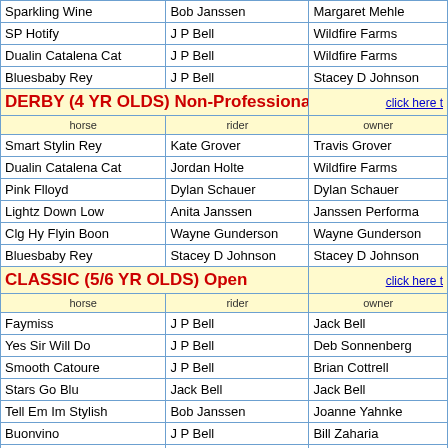| horse | rider | owner |
| --- | --- | --- |
| Sparkling Wine | Bob Janssen | Margaret Mehle |
| SP Hotify | J P Bell | Wildfire Farms |
| Dualin Catalena Cat | J P Bell | Wildfire Farms |
| Bluesbaby Rey | J P Bell | Stacey D Johnson |
DERBY (4 YR OLDS) Non-Professional
| horse | rider | owner |
| --- | --- | --- |
| Smart Stylin Rey | Kate Grover | Travis Grover |
| Dualin Catalena Cat | Jordan Holte | Wildfire Farms |
| Pink Flloyd | Dylan Schauer | Dylan Schauer |
| Lightz Down Low | Anita Janssen | Janssen Performa... |
| Clg Hy Flyin Boon | Wayne Gunderson | Wayne Gunderson |
| Bluesbaby Rey | Stacey D Johnson | Stacey D Johnson |
CLASSIC (5/6 YR OLDS) Open
| horse | rider | owner |
| --- | --- | --- |
| Faymiss | J P Bell | Jack Bell |
| Yes Sir Will Do | J P Bell | Deb Sonnenberg |
| Smooth Catoure | J P Bell | Brian Cottrell |
| Stars Go Blu | Jack Bell | Jack Bell |
| Tell Em Im Stylish | Bob Janssen | Joanne Yahnke |
| Buonvino | J P Bell | Bill Zaharia |